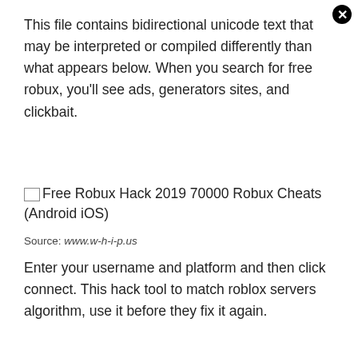This file contains bidirectional unicode text that may be interpreted or compiled differently than what appears below. When you search for free robux, you'll see ads, generators sites, and clickbait.
[Figure (screenshot): Broken image placeholder with text: Free Robux Hack 2019 70000 Robux Cheats (Android iOS)]
Source: www.w-h-i-p.us
Enter your username and platform and then click connect. This hack tool to match roblox servers algorithm, use it before they fix it again.
[Figure (screenshot): Date selector with three fields circled in red: March (superscript 3), 18, 1968 with dropdown arrows. Below is a green button labeled REVICE BIRTHDAY REWARD with a cursor icon and close button.]